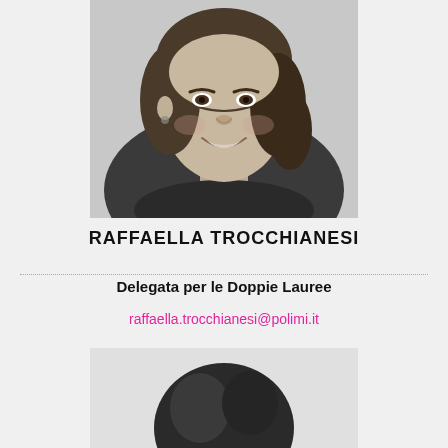[Figure (photo): Black and white portrait photo of Raffaella Trocchianesi, a woman with wavy hair smiling]
RAFFAELLA TROCCHIANESI
Delegata per le Doppie Lauree
raffaella.trocchianesi@polimi.it
[Figure (photo): Black and white portrait photo of another person, partially visible showing top of head with dark hair]